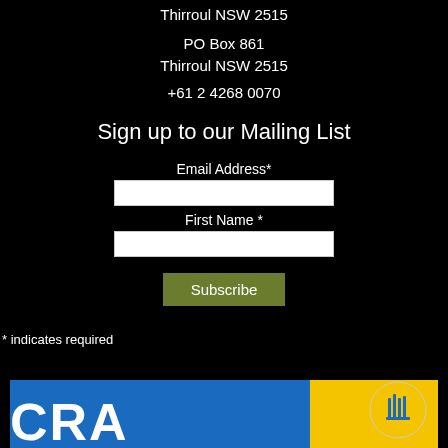Thirroul NSW 2515
PO Box 861
Thirroul NSW 2515
+61 2 4268 0070
Sign up to our Mailing List
Email Address*
First Name *
* indicates required
[Figure (logo): CRA logo with blue and yellow background, partial view at bottom of page]